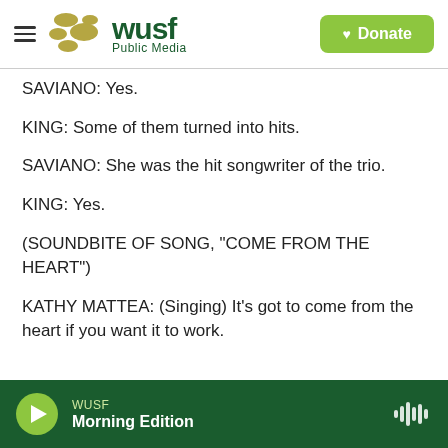WUSF Public Media | Donate
SAVIANO: Yes.
KING: Some of them turned into hits.
SAVIANO: She was the hit songwriter of the trio.
KING: Yes.
(SOUNDBITE OF SONG, "COME FROM THE HEART")
KATHY MATTEA: (Singing) It's got to come from the heart if you want it to work.
WUSF Morning Edition